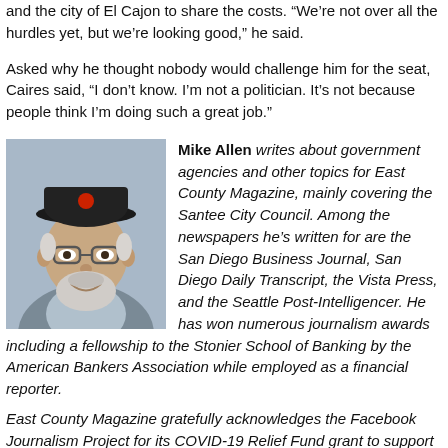and the city of El Cajon to share the costs. “We’re not over all the hurdles yet, but we’re looking good,” he said.
Asked why he thought nobody would challenge him for the seat, Caires said, “I don’t know. I’m not a politician. It’s not because people think I’m doing such a great job.”
[Figure (photo): Headshot photo of Mike Allen, a man wearing a dark baseball cap with a red logo, glasses, grey beard, smiling]
Mike Allen writes about government agencies and other topics for East County Magazine, mainly covering the Santee City Council. Among the newspapers he’s written for are the San Diego Business Journal, San Diego Daily Transcript, the Vista Press, and the Seattle Post-Intelligencer. He has won numerous journalism awards including a fellowship to the Stonier School of Banking by the American Bankers Association while employed as a financial reporter.
East County Magazine gratefully acknowledges the Facebook Journalism Project for its COVID-19 Relief Fund grant to support our local news reporting including impacts on